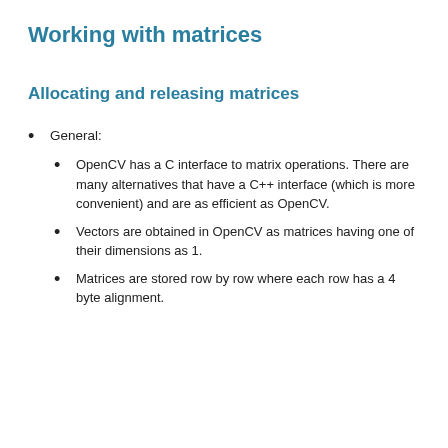Working with matrices
Allocating and releasing matrices
General:
OpenCV has a C interface to matrix operations. There are many alternatives that have a C++ interface (which is more convenient) and are as efficient as OpenCV.
Vectors are obtained in OpenCV as matrices having one of their dimensions as 1.
Matrices are stored row by row where each row has a 4 byte alignment.